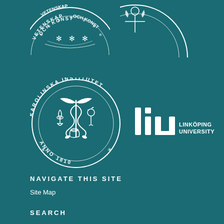[Figure (logo): Partial circular seal/logo with text 'VETENSKAP OCH KONST' on teal background, top-left area]
[Figure (logo): Partial circular logo with text 'STOCKHOLMS UNIVERSITY' on teal background, top-right area]
[Figure (logo): Karolinska Institutet circular seal with medical symbols and text 'KAROLINSKA INSTITUTET ANNO 1810']
[Figure (logo): Linköping University logo with 'liu' stylized text and 'LINKÖPING UNIVERSITY' text]
NAVIGATE THIS SITE
Site Map
SEARCH